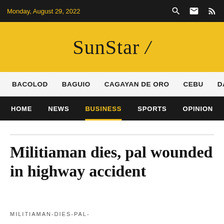Monday, August 29, 2022
SunStar /
BACOLOD  BAGUIO  CAGAYAN DE ORO  CEBU  DA...
HOME  NEWS  BUSINESS  SPORTS  OPINION  FE...
Militiaman dies, pal wounded in highway accident
MILITIAMAN-DIES-PAL-